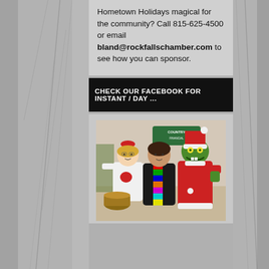Hometown Holidays magical for the community? Call 815-625-4500 or email bland@rockfallschamber.com to see how you can sponsor.
CHECK OUR FACEBOOK FOR INSTANT / DAY ...
[Figure (photo): Three people posing indoors: a woman in a Cindy Lou Who costume with red bow and heart shirt, a woman in the center in a colorful striped scarf, and a person in a Grinch costume in red suit and Santa hat. Country Financial sign visible in background. Woman on left holds a wicker basket.]